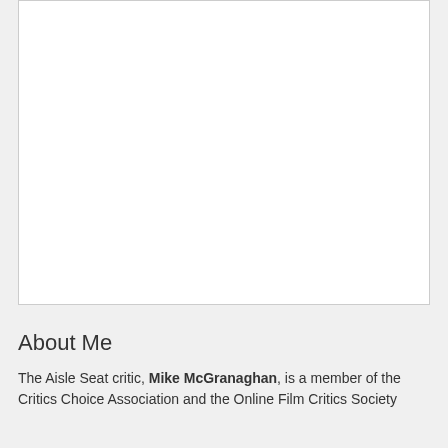[Figure (photo): Large white image/photo placeholder box with a thin border]
About Me
The Aisle Seat critic, Mike McGranaghan, is a member of the Critics Choice Association and the Online Film Critics Society